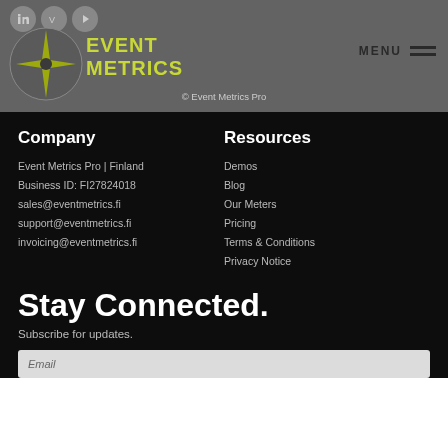[Figure (logo): Event Metrics Pro logo with compass star graphic and LinkedIn, Vimeo, YouTube social icons; MENU hamburger top right]
© Event Metrics Pro
Company
Resources
Event Metrics Pro | Finland
Business ID: FI27824018
sales@eventmetrics.fi
support@eventmetrics.fi
invoicing@eventmetrics.fi
Demos
Blog
Our Meters
Pricing
Terms & Conditions
Privacy Notice
Stay Connected.
Subscribe for updates.